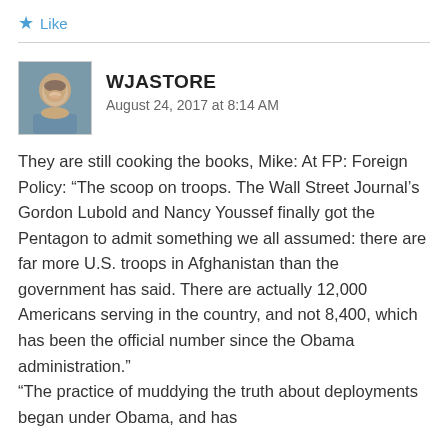Like
WJASTORE
August 24, 2017 at 8:14 AM
They are still cooking the books, Mike: At FP: Foreign Policy: “The scoop on troops. The Wall Street Journal’s Gordon Lubold and Nancy Youssef finally got the Pentagon to admit something we all assumed: there are far more U.S. troops in Afghanistan than the government has said. There are actually 12,000 Americans serving in the country, and not 8,400, which has been the official number since the Obama administration.”

“The practice of muddying the truth about deployments began under Obama, and has